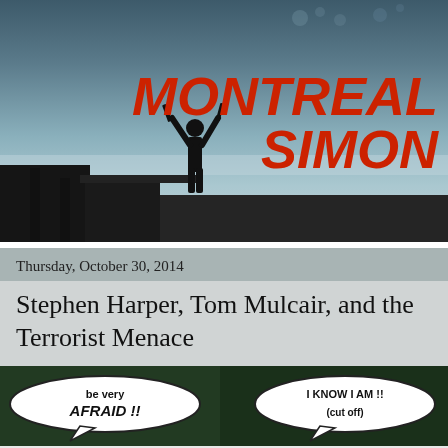[Figure (illustration): Blog header banner for Montreal Simon blog. Shows a dark silhouette of a person on a dock or rooftop with arms raised holding objects against a blue-grey sky. Bold italic red text reads MONTREAL SIMON on the right side.]
Thursday, October 30, 2014
Stephen Harper, Tom Mulcair, and the Terrorist Menace
[Figure (illustration): Comic strip panel showing two speech bubbles. Left bubble reads: be very AFRAID !! Right bubble reads: I KNOW I AM !!]